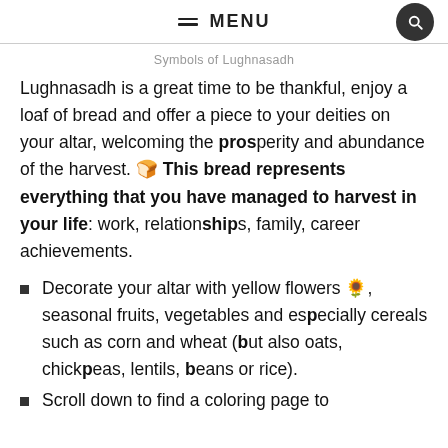≡ MENU
Symbols of Lughnasadh
Lughnasadh is a great time to be thankful, enjoy a loaf of bread and offer a piece to your deities on your altar, welcoming the prosperity and abundance of the harvest. 🍞 This bread represents everything that you have managed to harvest in your life: work, relationships, family, career achievements.
Decorate your altar with yellow flowers 🌻, seasonal fruits, vegetables and especially cereals such as corn and wheat (but also oats, chickpeas, lentils, beans or rice).
Scroll down to find a coloring page to